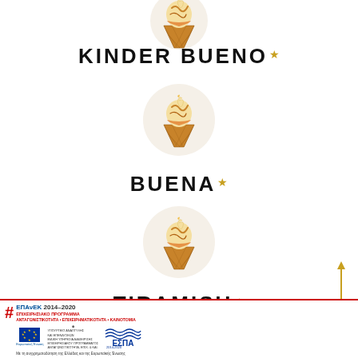[Figure (illustration): Ice cream cone illustration in a beige circle at the top]
KINDER BUENO★
[Figure (illustration): Ice cream cone illustration in a beige circle, middle]
BUENA★
[Figure (illustration): Ice cream cone illustration in a beige circle, lower]
TIRAMISU★
ΕΠΑνΕΚ 2014–2020 ΕΠΙΧΕΙΡΗΣΙΑΚΟ ΠΡΟΓΡΑΜΜΑ ΑΝΤΑΓΩΝΙΣΤΙΚΟΤΗΤΑ • ΕΠΙΧΕΙΡΗΜΑΤΙΚΟΤΗΤΑ • ΚΑΙΝΟΤΟΜΙΑ ΕΣΠΑ 2014-2020 Με τη συγχρηματοδότηση της Ελλάδας και της Ευρωπαϊκής Ένωσης